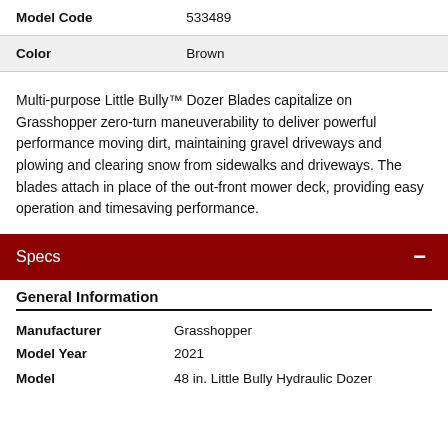| Field | Value |
| --- | --- |
| Model Code | 533489 |
| Color | Brown |
Multi-purpose Little Bully™ Dozer Blades capitalize on Grasshopper zero-turn maneuverability to deliver powerful performance moving dirt, maintaining gravel driveways and plowing and clearing snow from sidewalks and driveways. The blades attach in place of the out-front mower deck, providing easy operation and timesaving performance.
Specs
General Information
| Field | Value |
| --- | --- |
| Manufacturer | Grasshopper |
| Model Year | 2021 |
| Model | 48 in. Little Bully Hydraulic Dozer... |